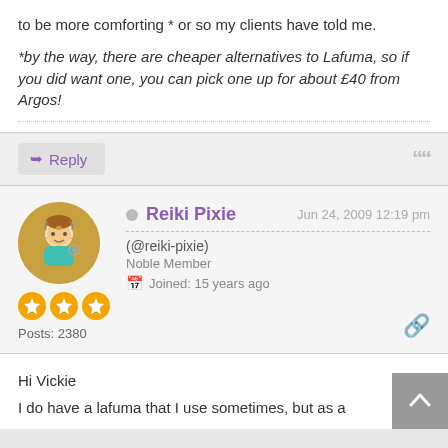to be more comforting * or so my clients have told me.
*by the way, there are cheaper alternatives to Lafuma, so if you did want one, you can pick one up for about £40 from Argos!
↵ Reply
Reiki Pixie
Jun 24, 2009 12:19 pm
(@reiki-pixie)
Noble Member
Joined: 15 years ago
Posts: 2380
Hi Vickie
I do have a lafuma that I use sometimes, but as a